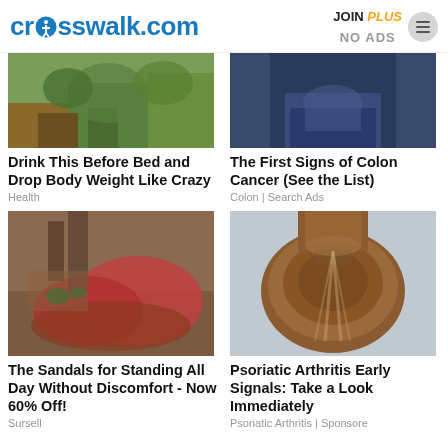crosswalk.com | JOIN PLUS NO ADS
[Figure (photo): Image of plants/vegetables for 'Drink This Before Bed' article]
Drink This Before Bed and Drop Body Weight Like Crazy
Health
[Figure (photo): Image of person's torso/jeans for colon cancer article]
The First Signs of Colon Cancer (See the List)
Colon | Search Ads
[Figure (photo): Image of red sandals/flip-flops]
The Sandals for Standing All Day Without Discomfort - Now 60% Off!
Sursell
[Figure (photo): Close-up image of a discolored fingernail]
Psoriatic Arthritis Early Signals: Take a Look Immediately
Psoriatic Arthritis | Sponsore